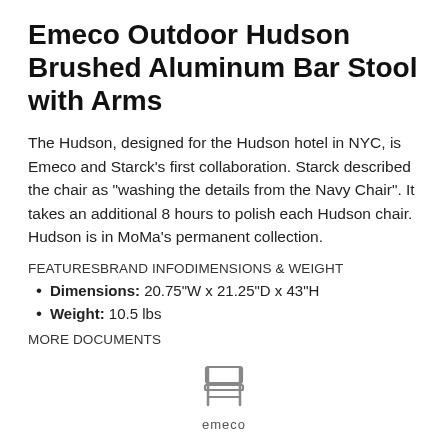Emeco Outdoor Hudson Brushed Aluminum Bar Stool with Arms
The Hudson, designed for the Hudson hotel in NYC, is Emeco and Starck's first collaboration. Starck described the chair as "washing the details from the Navy Chair". It takes an additional 8 hours to polish each Hudson chair. Hudson is in MoMa's permanent collection.
FEATURESBRAND INFODIMENSIONS & WEIGHT
Dimensions: 20.75"W x 21.25"D x 43"H
Weight: 10.5 lbs
MORE DOCUMENTS
[Figure (logo): Emeco brand logo with a stylized chair icon above the word 'emeco']